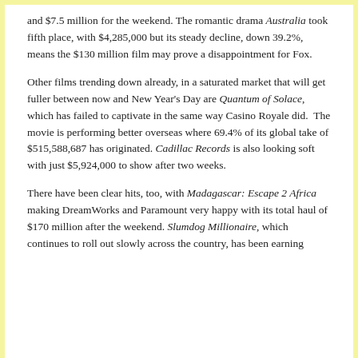and $7.5 million for the weekend. The romantic drama Australia took fifth place, with $4,285,000 but its steady decline, down 39.2%, means the $130 million film may prove a disappointment for Fox.
Other films trending down already, in a saturated market that will get fuller between now and New Year's Day are Quantum of Solace, which has failed to captivate in the same way Casino Royale did. The movie is performing better overseas where 69.4% of its global take of $515,588,687 has originated. Cadillac Records is also looking soft with just $5,924,000 to show after two weeks.
There have been clear hits, too, with Madagascar: Escape 2 Africa making DreamWorks and Paramount very happy with its total haul of $170 million after the weekend. Slumdog Millionaire, which continues to roll out slowly across the country, has been earning